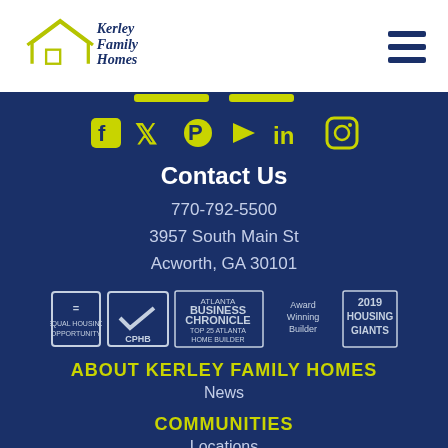[Figure (logo): Kerley Family Homes logo with house outline and olive/yellow text]
[Figure (other): Hamburger menu icon (three horizontal dark navy lines)]
[Figure (other): Social media icons: Facebook, Twitter, Pinterest, YouTube, LinkedIn, Instagram in olive/yellow color]
Contact Us
770-792-5500
3957 South Main St
Acworth, GA 30101
[Figure (other): Badges: Equal Housing Opportunity, CPHB, Atlanta Business Chronicle Top 25 Atlanta Home Builder, Award Winning Builder, 2019 Housing Giants]
ABOUT KERLEY FAMILY HOMES
News
COMMUNITIES
Locations
Homes